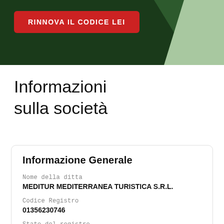[Figure (other): Dark green header banner with a red rounded button labeled 'RINNOVA IL CODICE LEI' and decorative chevron shapes in medium and light green on the right side.]
Informazioni sulla società
Informazione Generale
Nome della ditta
MEDITUR MEDITERRANEA TURISTICA S.R.L.
Codice Registro
01356230746
Stato del registro
ACTIVE